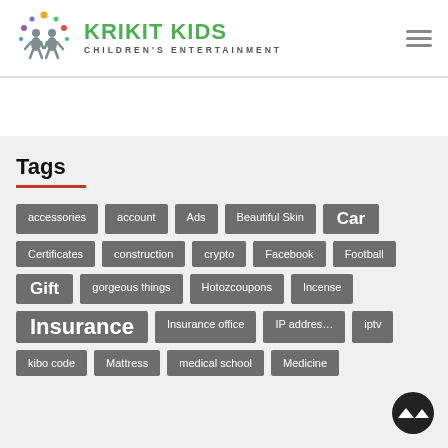KRIKIT KIDS CHILDREN'S ENTERTAINMENT
Tags
accessories
account
Ads
Beautiful Skin
Car
Certificates
construction
crypto
Facebook
Football
Gift
gorgeous things
Hotozcoupons
Incense
Insurance
Insurance office
IP address
iptv
kibo code
Mattress
medical school
Medicine